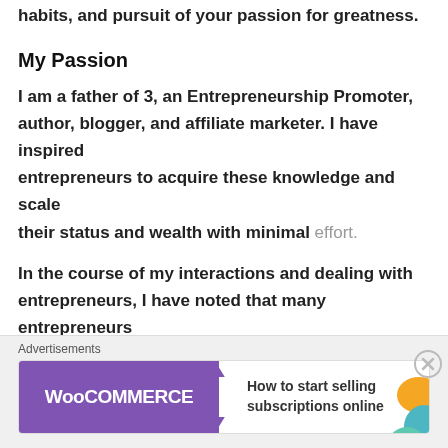habits, and pursuit of your passion for greatness.
My Passion
I am a father of 3, an Entrepreneurship Promoter, author, blogger, and affiliate marketer. I have inspired entrepreneurs to acquire these knowledge and scale their status and wealth with minimal effort.
In the course of my interactions and dealing with entrepreneurs, I have noted that many entrepreneurs are zealous and committed to achieve success. However, many lack knowledge of the principles, techniques, business tools, and formulas they should apply to scale their life and business.
[Figure (other): WooCommerce advertisement banner: 'How to start selling subscriptions online']